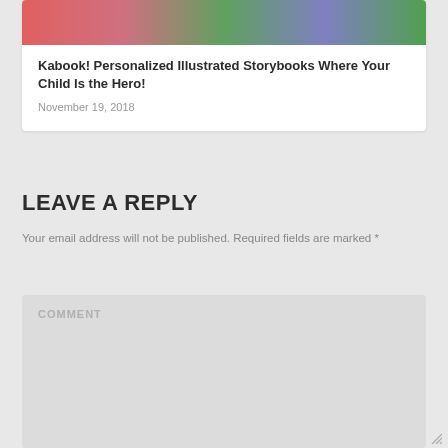[Figure (photo): Colorful banner image showing children at the top of a card]
Kabook! Personalized Illustrated Storybooks Where Your Child Is the Hero!
November 19, 2018
LEAVE A REPLY
Your email address will not be published. Required fields are marked *
COMMENT